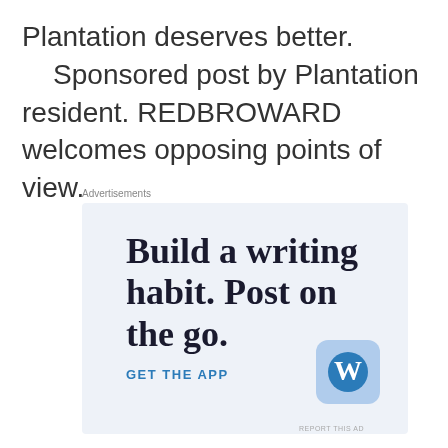Plantation deserves better. Sponsored post by Plantation resident. REDBROWARD welcomes opposing points of view.
Advertisements
[Figure (illustration): WordPress advertisement banner with light blue background. Text reads 'Build a writing habit. Post on the go.' with 'GET THE APP' call-to-action and WordPress logo.]